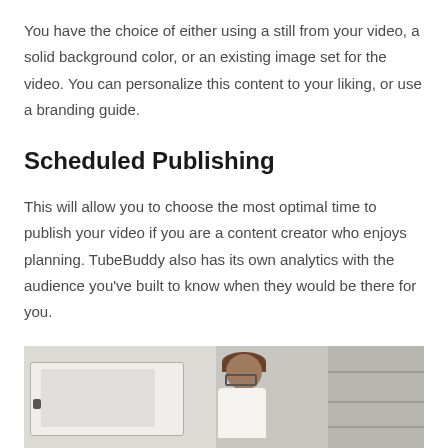You have the choice of either using a still from your video, a solid background color, or an existing image set for the video. You can personalize this content to your liking, or use a branding guide.
Scheduled Publishing
This will allow you to choose the most optimal time to publish your video if you are a content creator who enjoys planning. TubeBuddy also has its own analytics with the audience you’ve built to know when they would be there for you.
Fighting through the YouTube algorithm will be one step smoother for an increase in traffic.
[Figure (photo): A person with short brown hair and glasses sitting at a laptop, with shelving visible in the background on the right side.]